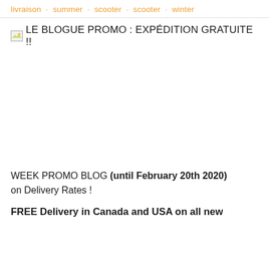livraison · summer · scooter · scooter · winter
LE BLOGUE PROMO : EXPÉDITION GRATUITE !!
[Figure (photo): Large white/blank image area below the blog title, representing an image that did not load or a promotional photo]
WEEK PROMO BLOG (until February 20th 2020) on Delivery Rates !
FREE Delivery in Canada and USA on all new